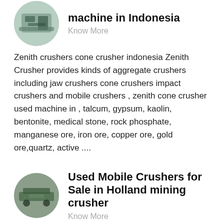[Figure (photo): Circular thumbnail image of a crusher machine]
machine in Indonesia
Know More
Zenith crushers cone crusher indonesia Zenith Crusher provides kinds of aggregate crushers including jaw crushers cone crushers impact crushers and mobile crushers , zenith cone crusher used machine in , talcum, gypsum, kaolin, bentonite, medical stone, rock phosphate, manganese ore, iron ore, copper ore, gold ore,quartz, active ....
[Figure (photo): Circular thumbnail image of mobile crushers]
Used Mobile Crushers for Sale in Holland mining crusher
Know More
Used Mobile Crushers for Sale in Holland Mobile Crusher Manufacturer Shanghai Zenith is a high technology, engineering group We are specializing in the research, development, and production of stone